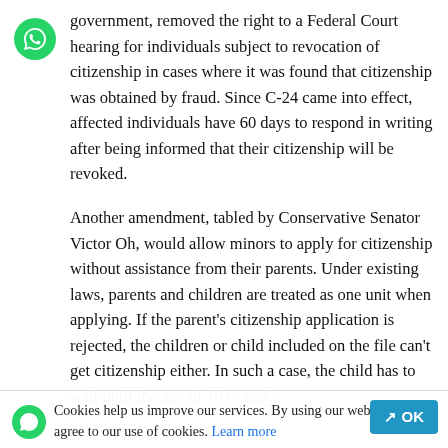government, removed the right to a Federal Court hearing for individuals subject to revocation of citizenship in cases where it was found that citizenship was obtained by fraud. Since C-24 came into effect, affected individuals have 60 days to respond in writing after being informed that their citizenship will be revoked.
Another amendment, tabled by Conservative Senator Victor Oh, would allow minors to apply for citizenship without assistance from their parents. Under existing laws, parents and children are treated as one unit when applying. If the parent's citizenship application is rejected, the children or child included on the file can't get citizenship either. In such a case, the child has to wait until the age of 18 to make their application.
Cookies help us improve our services. By using our website, you agree to our use of cookies. Learn more